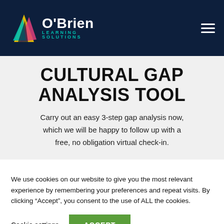O'Brien Learning Solutions
CULTURAL GAP ANALYSIS TOOL
Carry out an easy 3-step gap analysis now, which we will be happy to follow up with a free, no obligation virtual check-in.
We use cookies on our website to give you the most relevant experience by remembering your preferences and repeat visits. By clicking “Accept”, you consent to the use of ALL the cookies.
Cookie settings | ACCEPT